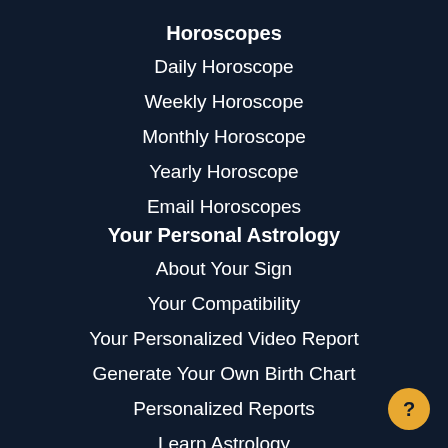Horoscopes
Daily Horoscope
Weekly Horoscope
Monthly Horoscope
Yearly Horoscope
Email Horoscopes
Your Personal Astrology
About Your Sign
Your Compatibility
Your Personalized Video Report
Generate Your Own Birth Chart
Personalized Reports
Learn Astrology
Astrology Blog